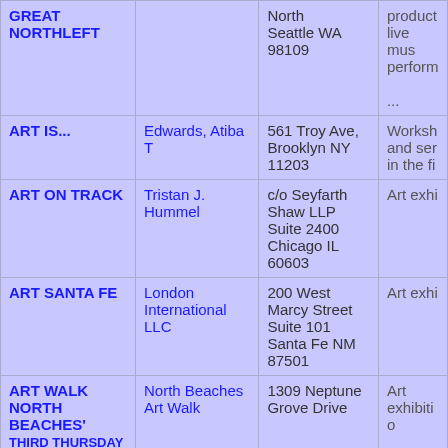| Name | Contact | Address | Description |
| --- | --- | --- | --- |
| GREAT NORTHLEFT |  | North
Seattle WA
98109 | product
live mus
perform
... |
| ART IS... | Edwards, Atiba T | 561 Troy Ave,
Brooklyn NY
11203 | Worksh
and ser
in the fi |
| ART ON TRACK | Tristan J. Hummel | c/o Seyfarth Shaw LLP
Suite 2400
Chicago IL
60603 | Art exhi |
| ART SANTA FE | London International LLC | 200 West Marcy Street
Suite 101
Santa Fe NM
87501 | Art exhi |
| ART WALK NORTH BEACHES' THIRD THURSDAY | North Beaches Art Walk | 1309 Neptune Grove Drive | Art exhibition |